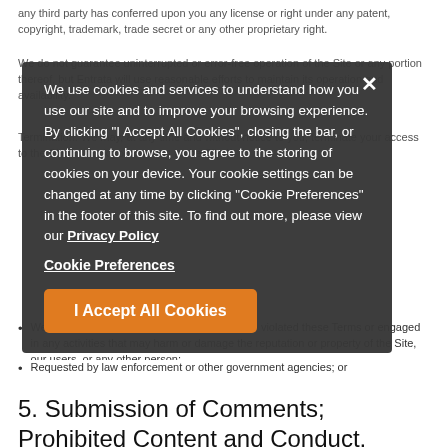any third party has conferred upon you any license or right under any patent, copyright, trademark, trade secret or any other proprietary right.
We use cookies and services to understand how you use our site and to improve your browsing experience. By clicking "I Accept All Cookies", closing the bar, or continuing to browse, you agree to the storing of cookies on your device. Your cookie settings can be changed at any time by clicking "Cookie Preferences" in the footer of this site. To find out more, please view our Privacy Policy
We do not guarantee uninterrupted or error-free operation of the Site or any portion thereof, but Entrata will use reasonable efforts to maintain its operation and availability.
Termination. We may, at any time and without notice to you, terminate your access to the Site or block your access to the Site if:
Cookie Preferences
I Accept All Cookies
We believe in our sole discretion that you have violated these Terms or engaged in any activities that may harm or damage the reputation or property of the Site, our users, or any other person;
Requested by law enforcement or other government agencies; or
Your account has extended periods of inactivity.
5. Submission of Comments; Prohibited Content and Conduct.